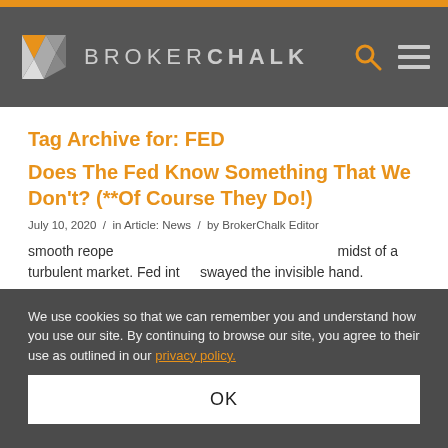BROKERCHALK
Tag Archive for: FED
Does The Fed Know Something That We Don’t? (**Of Course They Do!)
July 10, 2020 / in Article: News / by BrokerChalk Editor
We use cookies so that we can remember you and understand how you use our site. By continuing to browse our site, you agree to their use as outlined in our privacy policy.
smooth reope... midst of a turbulent market. Fed int... swayed the invisible hand.